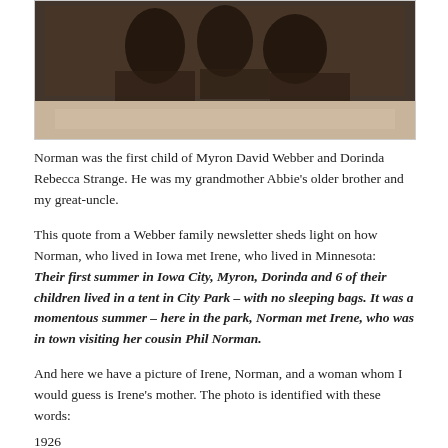[Figure (photo): Sepia-toned historical photograph showing a group of people, cropped at the top of the page, with a light beige background beneath the darker image area.]
Norman was the first child of Myron David Webber and Dorinda Rebecca Strange. He was my grandmother Abbie's older brother and my great-uncle.
This quote from a Webber family newsletter sheds light on how Norman, who lived in Iowa met Irene, who lived in Minnesota: Their first summer in Iowa City, Myron, Dorinda and 6 of their children lived in a tent in City Park – with no sleeping bags. It was a momentous summer – here in the park, Norman met Irene, who was in town visiting her cousin Phil Norman.
And here we have a picture of Irene, Norman, and a woman whom I would guess is Irene's mother. The photo is identified with these words:
1926
In Tyler
Showing my ring